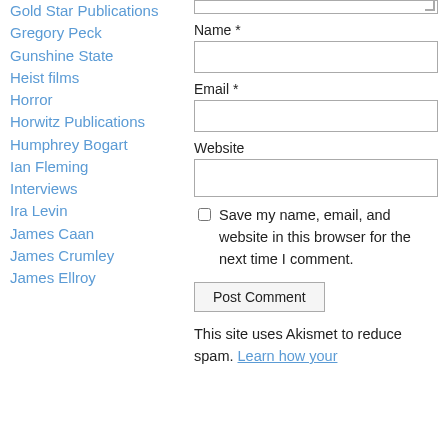Gold Star Publications
Gregory Peck
Gunshine State
Heist films
Horror
Horwitz Publications
Humphrey Bogart
Ian Fleming
Interviews
Ira Levin
James Caan
James Crumley
James Ellroy
Name *
Email *
Website
Save my name, email, and website in this browser for the next time I comment.
Post Comment
This site uses Akismet to reduce spam. Learn how your